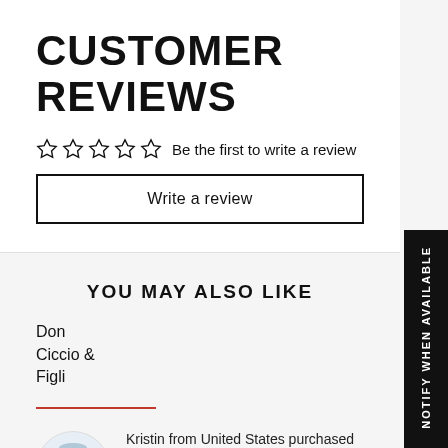CUSTOMER REVIEWS
☆☆☆☆☆  Be the first to write a review
Write a review
YOU MAY ALSO LIKE
Don Ciccio & Figli
[Figure (photo): Circular product image of Duclaw Sour Me Unicorn Farts can]
Kristin from United States purchased
Duclaw Sour Me Unicorn Farts
2 hours ago
NOTIFY WHEN AVAILABLE